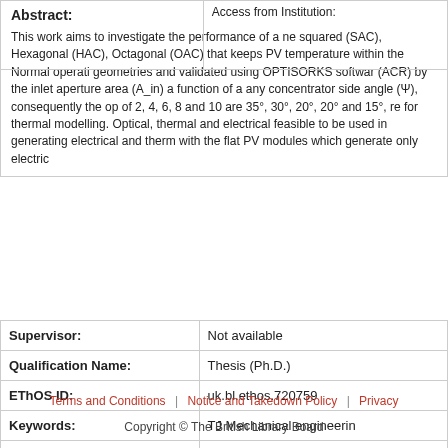|  | Access from Institution: |
| --- | --- |
|  |  |
Abstract:
This work aims to investigate the performance of a ne squared (SAC), Hexagonal (HAC), Octagonal (OAC) that keeps PV temperature within the Normal operati geometries and validated using OPTISORKS softwar (ACR) by the inlet aperture area (A_in) a function of a any concentrator side angle (Ψ), consequently the op of 2, 4, 6, 8 and 10 are 35°, 30°, 20°, 20° and 15°, re for thermal modelling. Optical, thermal and electrical feasible to be used in generating electrical and therm with the flat PV modules which generate only electric
|  |  |
| --- | --- |
| Supervisor: | Not available |
| Qualification Name: | Thesis (Ph.D.) |
| EThOS ID: | uk.bl.ethos.720759 |
| Keywords: | TJ Mechanical engineerin |
| Share: | Share |
Terms and Conditions | Notice and Takedown Policy | Privacy
Copyright © The British Library Board